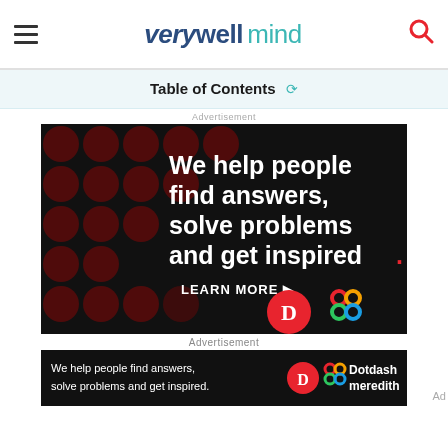verywell mind
Table of Contents
Advertisement
[Figure (photo): Dotdash Meredith advertisement banner on black background with dark red polka dots. Text reads: 'We help people find answers, solve problems and get inspired. LEARN MORE ▶' with Dotdash and Meredith logos.]
Advertisement
Ad
[Figure (photo): Smaller Dotdash Meredith advertisement banner strip on black background. Text reads: 'We help people find answers, solve problems and get inspired.' with Dotdash and Meredith logos.]